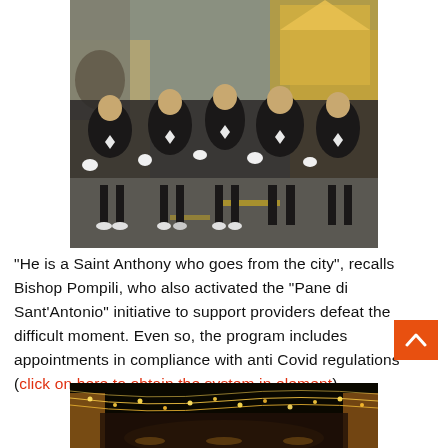[Figure (photo): Religious procession with people dressed in black robes carrying a golden statue/float through a street in an Italian town]
“He is a Saint Anthony who goes from the city”, recalls Bishop Pompili, who also activated the “Pane di Sant’Antonio” initiative to support providers defeat the difficult moment. Even so, the program includes appointments in compliance with anti Covid regulations (click on here to obtain the system in element),
[Figure (photo): Night street scene with festive lights/illuminations strung overhead along a narrow Italian street]